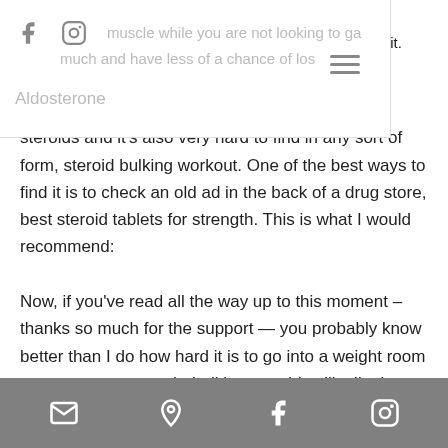muscle while you are not looking to gain much and have less of a chance of losing it.
Aldosterone
This is one of the most commonly prescribed steroids and it's also very hard to find in any sort of form, steroid bulking workout. One of the best ways to find it is to check an old ad in the back of a drug store, best steroid tablets for strength. This is what I would recommend:
Now, if you've read all the way up to this moment – thanks so much for the support — you probably know better than I do how hard it is to go into a weight room on an empty stomach, bulking steroids pills. I'm just